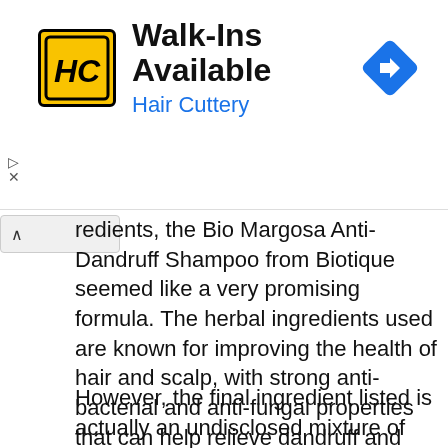[Figure (other): Hair Cuttery advertisement banner with HC logo, Walk-Ins Available text, Hair Cuttery subtitle, and a blue diamond direction arrow icon]
redients, the Bio Margosa Anti-Dandruff Shampoo from Biotique seemed like a very promising formula. The herbal ingredients used are known for improving the health of hair and scalp, with strong anti-bacterial and anti-fungal properties that can help relieve dandruff and dryness.
However, the final ingredient listed is actually an undisclosed mixture of ingredients. Because we don't know what they are, I can't give this shampoo a good score. And because I won't wash regularly with it, I can't recommend that unique combination of actives as a deterrent for